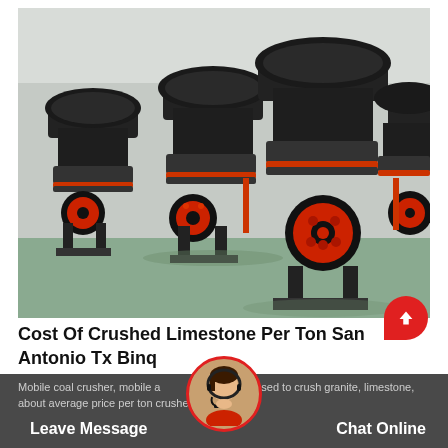[Figure (photo): Industrial cone crushers lined up in a factory/warehouse setting. Machines are large, black with red accents (wheels and bolts), arranged in rows on a green-floored facility.]
Cost Of Crushed Limestone Per Ton San Antonio Tx Binq
Mobile coal crusher, mobile a crusher the used to crush granite, limestone, about average price per ton crusher san antonio/
Leave Message
Chat Online